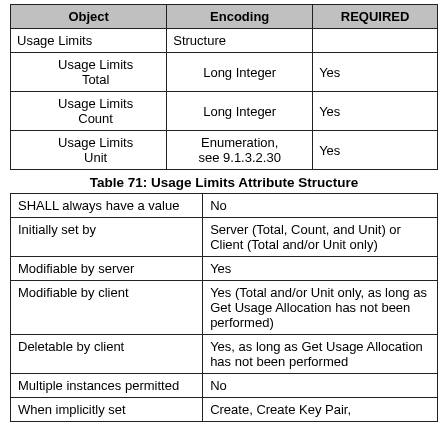| Object | Encoding | REQUIRED |
| --- | --- | --- |
| Usage Limits | Structure |  |
| Usage Limits Total | Long Integer | Yes |
| Usage Limits Count | Long Integer | Yes |
| Usage Limits Unit | Enumeration, see 9.1.3.2.30 | Yes |
Table 71: Usage Limits Attribute Structure
| SHALL always have a value | No |
| Initially set by | Server (Total, Count, and Unit) or Client (Total and/or Unit only) |
| Modifiable by server | Yes |
| Modifiable by client | Yes (Total and/or Unit only, as long as Get Usage Allocation has not been performed) |
| Deletable by client | Yes, as long as Get Usage Allocation has not been performed |
| Multiple instances permitted | No |
| When implicitly set | Create, Create Key Pair, |